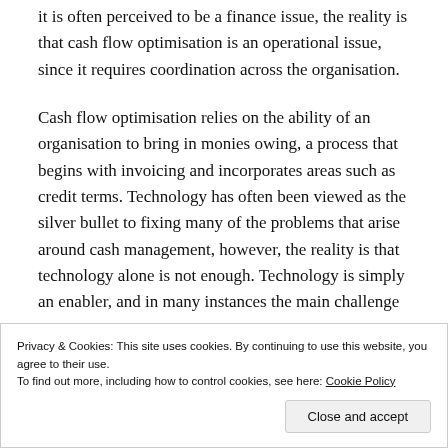it is often perceived to be a finance issue, the reality is that cash flow optimisation is an operational issue, since it requires coordination across the organisation.
Cash flow optimisation relies on the ability of an organisation to bring in monies owing, a process that begins with invoicing and incorporates areas such as credit terms. Technology has often been viewed as the silver bullet to fixing many of the problems that arise around cash management, however, the reality is that technology alone is not enough. Technology is simply an enabler, and in many instances the main challenge
Privacy & Cookies: This site uses cookies. By continuing to use this website, you agree to their use.
To find out more, including how to control cookies, see here: Cookie Policy